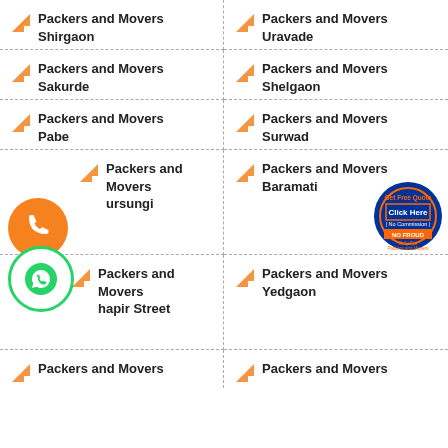Packers and Movers Shirgaon
Packers and Movers Uravade
Packers and Movers Sakurde
Packers and Movers Shelgaon
Packers and Movers Pabe
Packers and Movers Surwad
Packers and Movers Nursungi
Packers and Movers Baramati
Packers and Movers Shapir Street
Packers and Movers Yedgaon
Packers and Movers (partial)
Packers and Movers (partial)